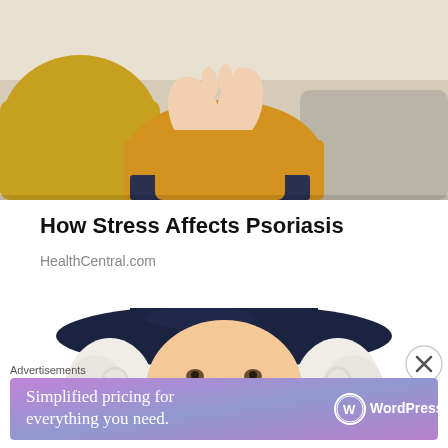[Figure (photo): Person in a yellow sweater sitting on a couch, holding hands together, with yellow and gray pillows in the background.]
How Stress Affects Psoriasis
HealthCentral.com
[Figure (illustration): Illustrated Quaker Oats man character with white curly hair wearing a dark navy colonial hat, smiling warmly.]
Advertisements
[Figure (screenshot): WordPress.com advertisement banner with purple/blue gradient background reading 'Simplified pricing for everything you need.' with WordPress.com logo on the right.]